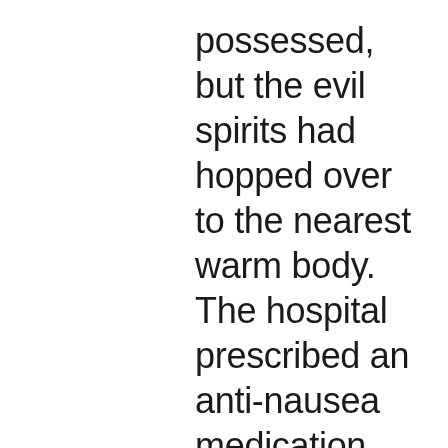possessed, but the evil spirits had hopped over to the nearest warm body. The hospital prescribed an anti-nausea medication (the same one the doctor had prescribed over the phone 5 hours before) and released the FAMILY. The pale MOTHER and recovering TODDLER headed out to the parking lot while the FATHER settled the bill. As he was